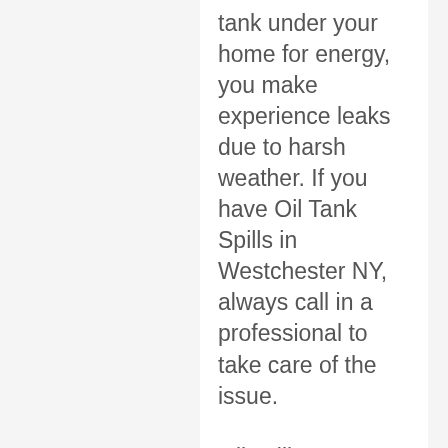tank under your home for energy, you make experience leaks due to harsh weather. If you have Oil Tank Spills in Westchester NY, always call in a professional to take care of the issue.
Oil spills are very serious things. As you might realize, major ones like the Exon Valdez spill or the BP oil spill in the gulf attracted a lot of media attention and had serious environmental and economic repercussions. Your spill isn't probably on